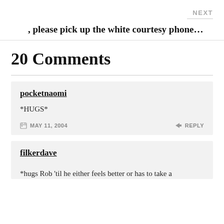NEXT
, please pick up the white courtesy phone...
20 Comments
pocketnaomi
*HUGS*
MAY 11, 2004   REPLY
filkerdave
*hugs Rob 'til he either feels better or has to take a